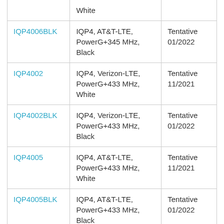|  | Description | Availability |
| --- | --- | --- |
| IQP4006BLK | IQP4, AT&T-LTE, PowerG+345 MHz, Black | Tentative 01/2022 |
| IQP4002 | IQP4, Verizon-LTE, PowerG+433 MHz, White | Tentative 11/2021 |
| IQP4002BLK | IQP4, Verizon-LTE, PowerG+433 MHz, Black | Tentative 01/2022 |
| IQP4005 | IQP4, AT&T-LTE, PowerG+433 MHz, White | Tentative 11/2021 |
| IQP4005BLK | IQP4, AT&T-LTE, PowerG+433 MHz, Black | Tentative 01/2022 |
If you click on any of the links above for products that aren't yet available, they will show up as discontinued on our site. Once they become available, we will blog again,